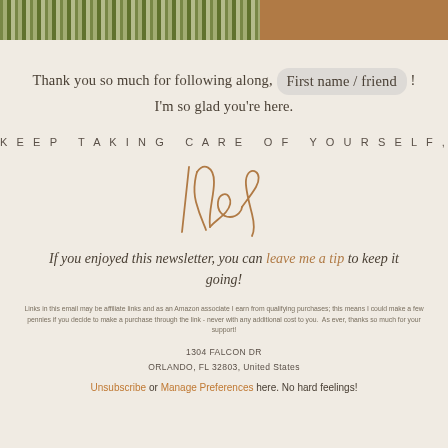[Figure (photo): Header image with grass/field photo on the left and a brown/tan color block on the right]
Thank you so much for following along, First name / friend ! I'm so glad you're here.
KEEP TAKING CARE OF YOURSELF,
[Figure (illustration): Handwritten cursive signature reading 'Mel' in brown/tan ink]
If you enjoyed this newsletter, you can leave me a tip to keep it going!
Links in this email may be affiliate links and as an Amazon associate I earn from qualifying purchases; this means I could make a few pennies if you decide to make a purchase through the link - never with any additional cost to you. As ever, thanks so much for your support!
1304 FALCON DR
ORLANDO, FL 32803, United States
Unsubscribe or Manage Preferences here. No hard feelings!